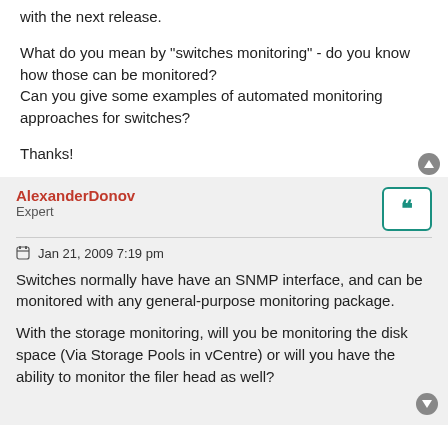with the next release.
What do you mean by "switches monitoring" - do you know how those can be monitored?
Can you give some examples of automated monitoring approaches for switches?
Thanks!
AlexanderDonov
Expert
Jan 21, 2009 7:19 pm
Switches normally have have an SNMP interface, and can be monitored with any general-purpose monitoring package.
With the storage monitoring, will you be monitoring the disk space (Via Storage Pools in vCentre) or will you have the ability to monitor the filer head as well?